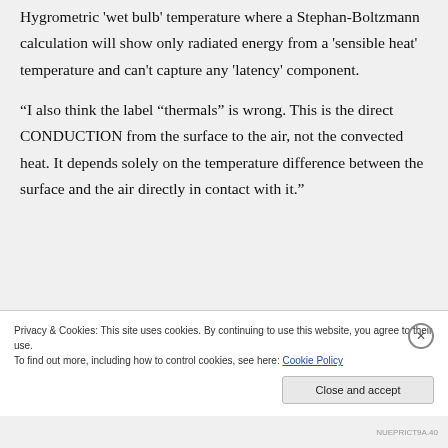Hygrometric 'wet bulb' temperature where a Stephan-Boltzmann calculation will show only radiated energy from a 'sensible heat' temperature and can't capture any 'latency' component.
"I also think the label "thermals" is wrong. This is the direct CONDUCTION from the surface to the air, not the convected heat. It depends solely on the temperature difference between the surface and the air directly in contact with it."
Privacy & Cookies: This site uses cookies. By continuing to use this website, you agree to their use.
To find out more, including how to control cookies, see here: Cookie Policy
NUEPRICT9A.40